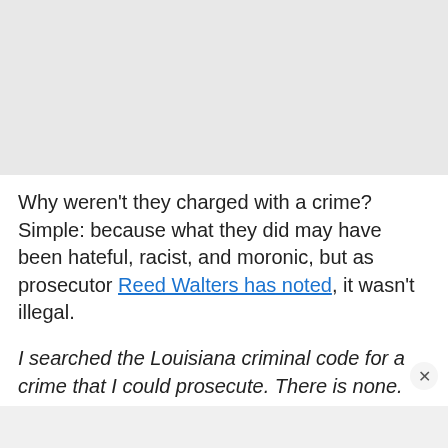[Figure (other): Gray placeholder area at top of page, likely an image region]
Why weren't they charged with a crime? Simple: because what they did may have been hateful, racist, and moronic, but as prosecutor Reed Walters has noted, it wasn't illegal.
I searched the Louisiana criminal code for a crime that I could prosecute. There is none.
Similarly, the United States attorney for the Western